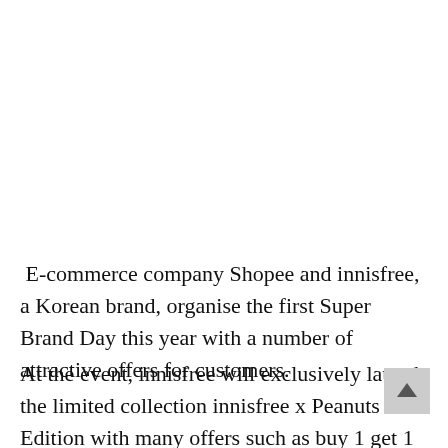E-commerce company Shopee and innisfree, a Korean brand, organise the first Super Brand Day this year with a number of attractive offers for customers.
At the event, innisfree will exclusively launch the limited collection innisfree x Peanuts Edition with many offers such as buy 1 get 1 full size and buy 1 get 6